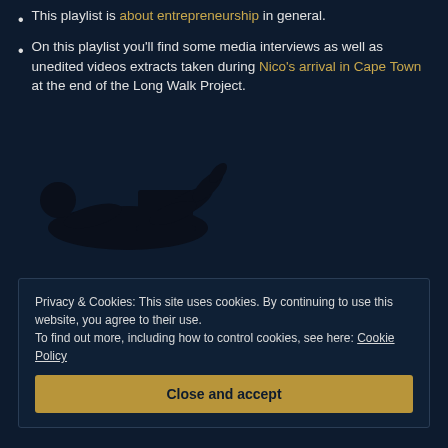This playlist is about entrepreneurship in general.
On this playlist you'll find some media interviews as well as unedited videos extracts taken during Nico's arrival in Cape Town at the end of the Long Walk Project.
[Figure (illustration): Dark silhouette of a person lying down with a laptop, on a dark navy background.]
Privacy & Cookies: This site uses cookies. By continuing to use this website, you agree to their use. To find out more, including how to control cookies, see here: Cookie Policy
Close and accept